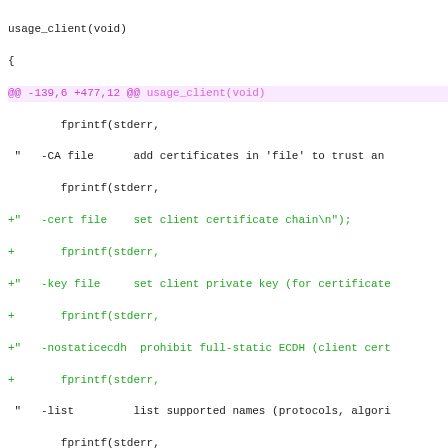[Figure (screenshot): A code diff screenshot showing changes to usage_client and do_client functions in C, with diff hunk headers in magenta, added lines in green, and context lines in dark/black color.]